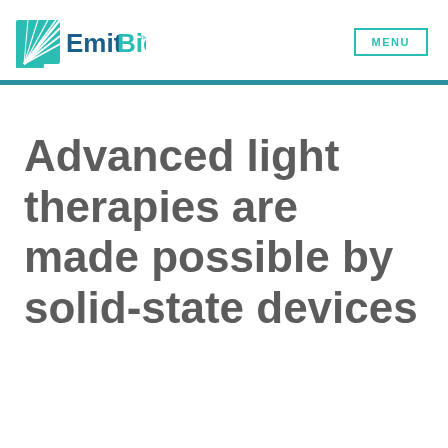EmitBio™  MENU
Advanced light therapies are made possible by solid-state devices